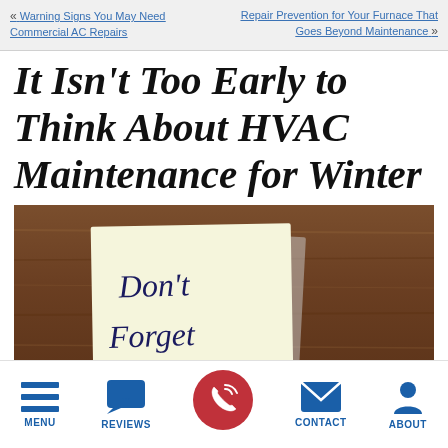« Warning Signs You May Need Commercial AC Repairs    Repair Prevention for Your Furnace That Goes Beyond Maintenance »
It Isn't Too Early to Think About HVAC Maintenance for Winter
[Figure (photo): A sticky note on a wooden desk with 'Don't Forget' written in handwriting]
MENU   REVIEWS   [CALL]   CONTACT   ABOUT